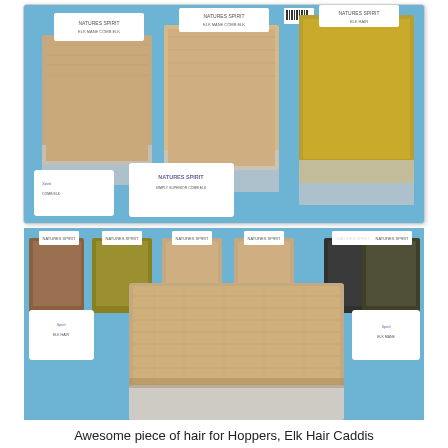[Figure (photo): Close-up photo of multiple packaged elk hair / animal hair fly-tying material bags from Nature's Spirit brand, arranged on a blue surface. Bags contain tan, beige, and golden/yellow colored hair samples.]
[Figure (photo): Close-up photo showing a prominent packaged elk hair fly-tying material from Nature's Spirit in the foreground (tan/beige hair), with multiple other colored hair packages (olive/yellow, brown, dark) arranged behind it on a blue surface.]
Awesome piece of hair for Hoppers, Elk Hair Caddis